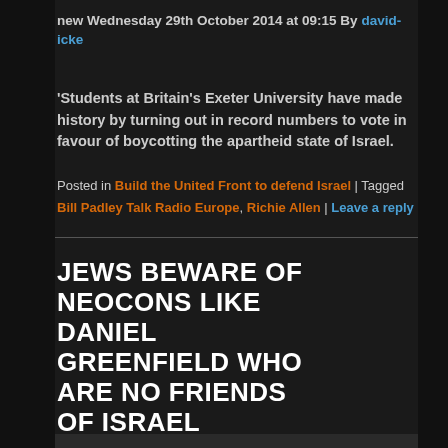new Wednesday 29th October 2014 at 09:15 By david-icke
'Students at Britain's Exeter University have made history by turning out in record numbers to vote in favour of boycotting the apartheid state of Israel.
Posted in Build the United Front to defend Israel | Tagged Bill Padley Talk Radio Europe, Richie Allen | Leave a reply
JEWS BEWARE OF NEOCONS LIKE DANIEL GREENFIELD WHO ARE NO FRIENDS OF ISRAEL
Posted on October 27, 2014